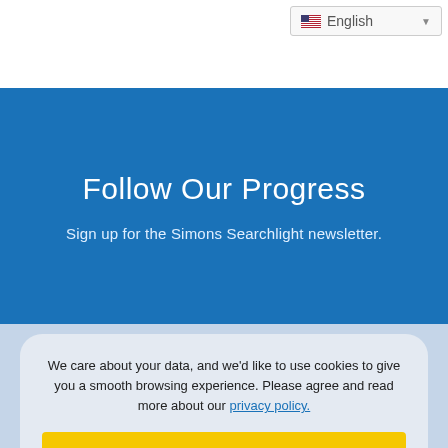English
Follow Our Progress
Sign up for the Simons Searchlight newsletter.
We care about your data, and we'd like to use cookies to give you a smooth browsing experience. Please agree and read more about our privacy policy.
AGREE